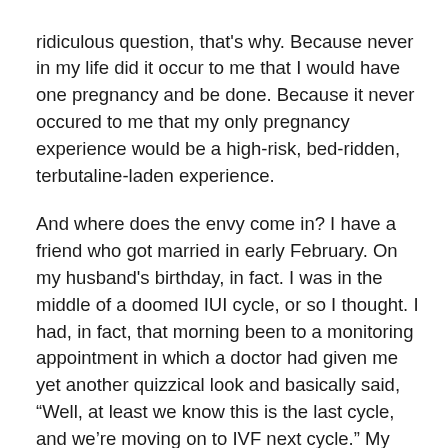ridiculous question, that's why. Because never in my life did it occur to me that I would have one pregnancy and be done. Because it never occured to me that my only pregnancy experience would be a high-risk, bed-ridden, terbutaline-laden experience.

And where does the envy come in? I have a friend who got married in early February. On my husband's birthday, in fact. I was in the middle of a doomed IUI cycle, or so I thought. I had, in fact, that morning been to a monitoring appointment in which a doctor had given me yet another quizzical look and basically said, “Well, at least we know this is the last cycle, and we’re moving on to IVF next cycle.” My friend is a lovely woman, and she married a lovely gentleman, another friend of ours, and we couldn’t be happier for them. But I was near tears all day. I’m not